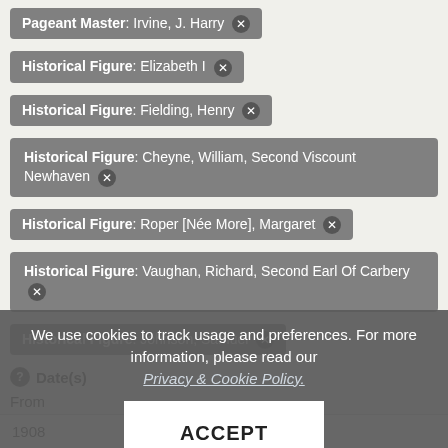Pageant Master: Irvine, J. Harry ✕
Historical Figure: Elizabeth I ✕
Historical Figure: Fielding, Henry ✕
Historical Figure: Cheyne, William, Second Viscount Newhaven ✕
Historical Figure: Roper [Née More], Margaret ✕
Historical Figure: Vaughan, Richard, Second Earl Of Carbery ✕
Historical Figure: Johnson, Samuel ✕
Historical Figure: More, Sir John ✕
We use cookies to track usage and preferences. For more information, please read our Privacy & Cookie Policy.
Date(s)
From
| From | To |
| --- | --- |
| 1908 | 1908 |